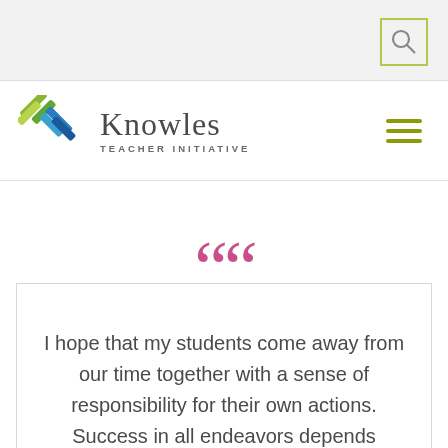[Figure (logo): Search icon (magnifying glass) in a yellow-green bordered box in the top-right of a gray header bar]
[Figure (logo): Knowles Teacher Initiative logo: colorful X-shaped icon in blue and green, with 'Knowles' in large serif text and 'TEACHER INITIATIVE' in small caps below]
[Figure (other): Hamburger menu icon with three olive/yellow-green horizontal lines]
I hope that my students come away from our time together with a sense of responsibility for their own actions. Success in all endeavors depends